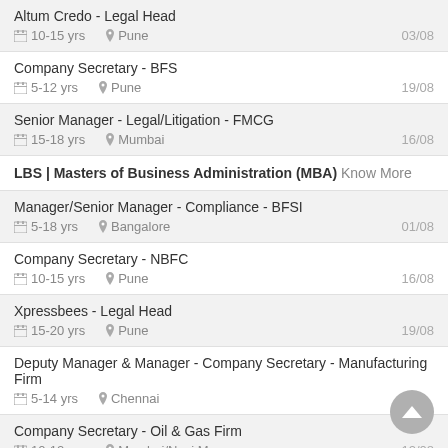Altum Credo - Legal Head | 10-15 yrs | Pune | 03/08
Company Secretary - BFS | 5-12 yrs | Pune | 19/08
Senior Manager - Legal/Litigation - FMCG | 15-18 yrs | Mumbai | 16/08
LBS | Masters of Business Administration (MBA) Know More
Manager/Senior Manager - Compliance - BFSI | 5-18 yrs | Bangalore | 01/08
Company Secretary - NBFC | 10-15 yrs | Pune | 16/08
Xpressbees - Legal Head | 15-20 yrs | Pune | 19/08
Deputy Manager & Manager - Company Secretary - Manufacturing Firm | 5-14 yrs | Chennai
Company Secretary - Oil & Gas Firm | 10-12 yrs | Mumbai/Navi Mum | 12/08